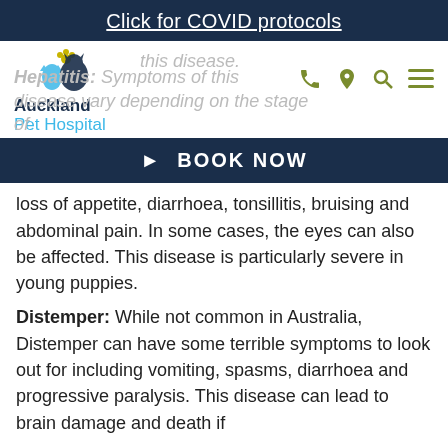Click for COVID protocols
[Figure (logo): Auckland Pet Hospital logo with dog and cat silhouettes]
this disease.
Hepatitis: Symptoms of this disease vary depending on the stage of
BOOK NOW
loss of appetite, diarrhoea, tonsillitis, bruising and abdominal pain. In some cases, the eyes can also be affected. This disease is particularly severe in young puppies.
Distemper: While not common in Australia, Distemper can have some terrible symptoms to look out for including vomiting, spasms, diarrhoea and progressive paralysis. This disease can lead to brain damage and death if